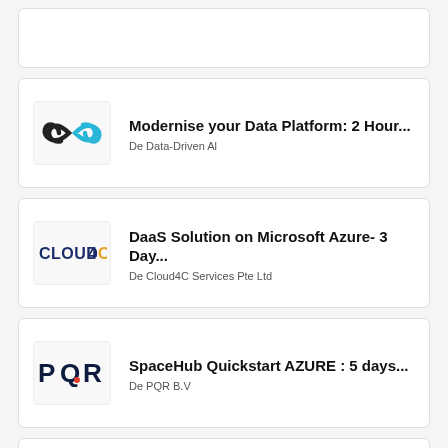[Figure (other): Empty card at top]
Modernise your Data Platform: 2 Hour...
De Data-Driven Al
DaaS Solution on Microsoft Azure- 3 Day...
De Cloud4C Services Pte Ltd
SpaceHub Quickstart AZURE : 5 days...
De PQR B.V
Azure Implementation: Migrate to Azure in...
De Linktech Australia